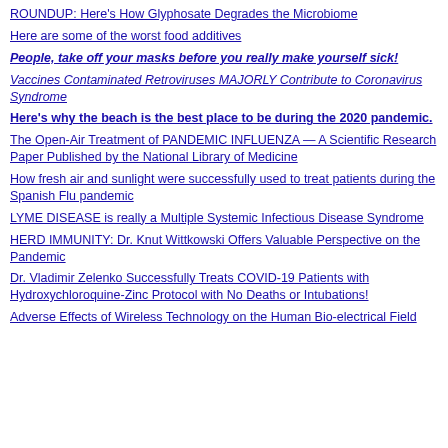ROUNDUP: Here's How Glyphosate Degrades the Microbiome
Here are some of the worst food additives
People, take off your masks before you really make yourself sick!
Vaccines Contaminated Retroviruses MAJORLY Contribute to Coronavirus Syndrome
Here's why the beach is the best place to be during the 2020 pandemic.
The Open-Air Treatment of PANDEMIC INFLUENZA — A Scientific Research Paper Published by the National Library of Medicine
How fresh air and sunlight were successfully used to treat patients during the Spanish Flu pandemic
LYME DISEASE is really a Multiple Systemic Infectious Disease Syndrome
HERD IMMUNITY: Dr. Knut Wittkowski Offers Valuable Perspective on the Pandemic
Dr. Vladimir Zelenko Successfully Treats COVID-19 Patients with Hydroxychloroquine-Zinc Protocol with No Deaths or Intubations!
Adverse Effects of Wireless Technology on the Human Bio-electrical Field